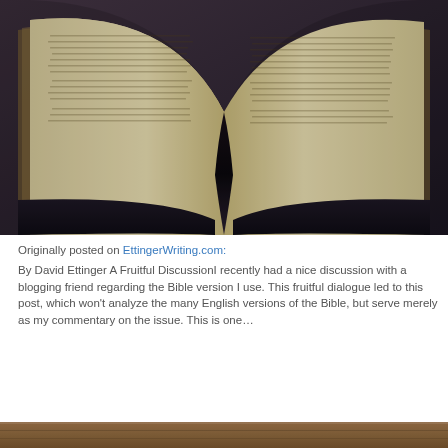[Figure (photo): Close-up photo of an old open Bible with yellowed pages, viewed from the spine, showing both left and right pages with dense text. Dark background.]
Originally posted on EttingerWriting.com: By David Ettinger A Fruitful DiscussionI recently had a nice discussion with a blogging friend regarding the Bible version I use. This fruitful dialogue led to this post, which won't analyze the many English versions of the Bible, but serve merely as my commentary on the issue. This is one…
A puzzling text from a prescientific age
[Figure (photo): Bottom portion of another photo, showing what appears to be a wooden surface or furniture, partially visible at the bottom of the page.]